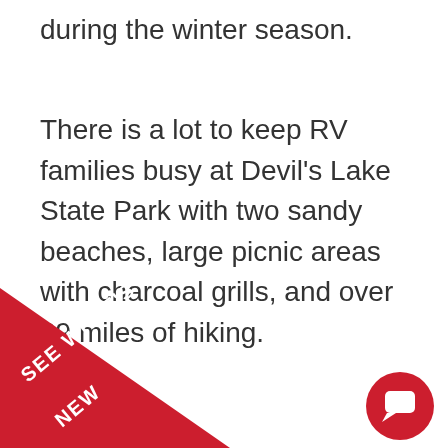during the winter season.
There is a lot to keep RV families busy at Devil's Lake State Park with two sandy beaches, large picnic areas with charcoal grills, and over 29 miles of hiking.
[Figure (infographic): Red triangular banner in the bottom-left corner with white text reading 'SEE WHAT'S NEW', and a red circular chat/comment button in the bottom-right corner.]